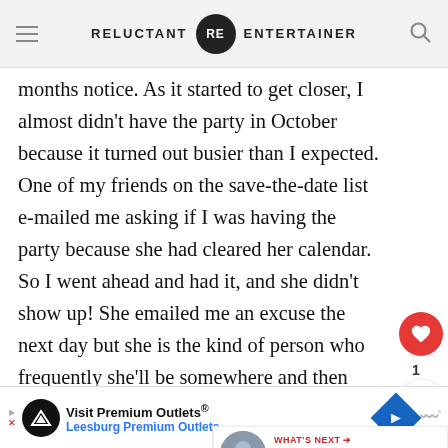RELUCTANT RE ENTERTAINER
months notice. As it started to get closer, I almost didn't have the party in October because it turned out busier than I expected. One of my friends on the save-the-date list e-mailed me asking if I was having the party because she had cleared her calendar. So I went ahead and had it, and she didn't show up! She emailed me an excuse the next day but she is the kind of person who frequently she'll be somewhere and then just doesn't come. The other people who couldn't make it
Visit Premium Outlets® Leesburg Premium Outlets